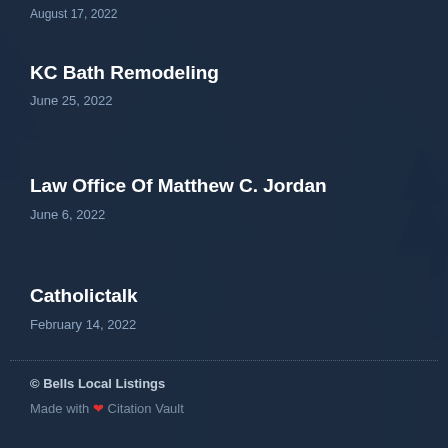August 17, 2022
KC Bath Remodeling
June 25, 2022
Law Office Of Matthew C. Jordan
June 6, 2022
Catholictalk
February 14, 2022
© Bells Local Listings
Made with ❤ Citation Vault